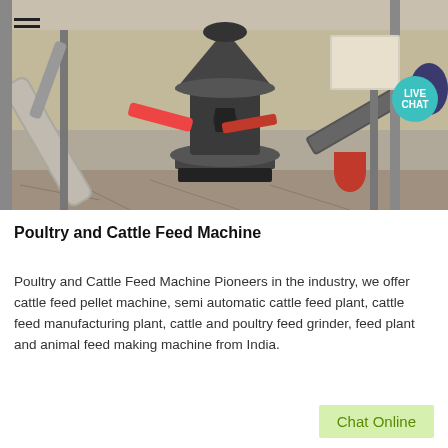[Figure (photo): Industrial machinery inside a warehouse/factory — a large cone crusher or mill machine at center, surrounded by conveyor belts, pipes, and steel structures on a concrete floor.]
Poultry and Cattle Feed Machine
Poultry and Cattle Feed Machine Pioneers in the industry, we offer cattle feed pellet machine, semi automatic cattle feed plant, cattle feed manufacturing plant, cattle and poultry feed grinder, feed plant and animal feed making machine from India.
Chat Online